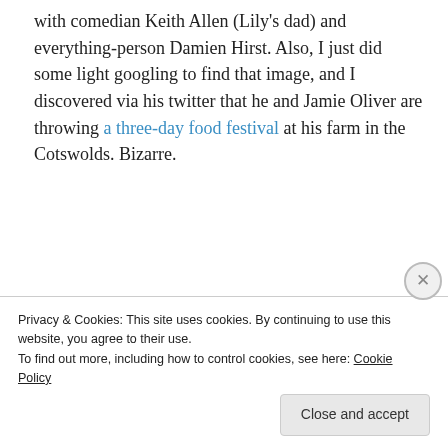with comedian Keith Allen (Lily's dad) and everything-person Damien Hirst. Also, I just did some light googling to find that image, and I discovered via his twitter that he and Jamie Oliver are throwing a three-day food festival at his farm in the Cotswolds. Bizarre.
[Figure (photo): Black and white photograph of a young man looking to the side, seated near a window with light fabric/curtain visible in the background.]
Privacy & Cookies: This site uses cookies. By continuing to use this website, you agree to their use.
To find out more, including how to control cookies, see here: Cookie Policy
Close and accept